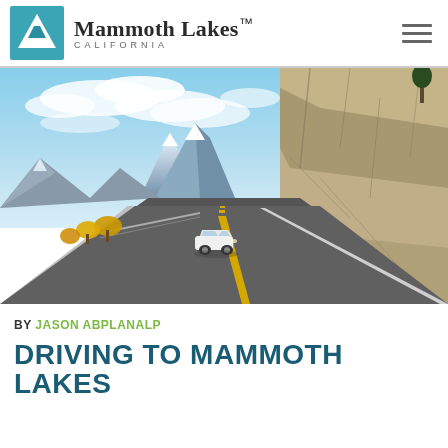Mammoth Lakes CALIFORNIA
[Figure (photo): A white car driving on a two-lane mountain highway with snow-capped peaks in the background and a rocky cliff face on the right side. Yellow-leafed trees line the left side of the road. Blue sky with light clouds above.]
BY JASON ABPLANALP
DRIVING TO MAMMOTH LAKES